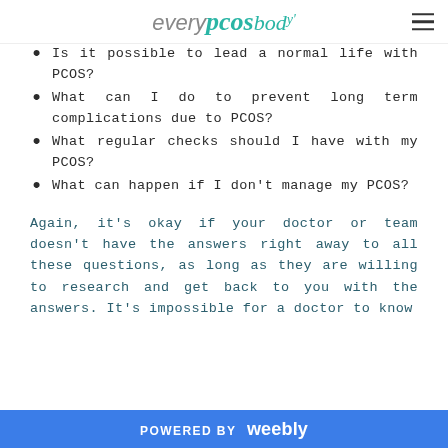everyPCOSbody
Is it possible to lead a normal life with PCOS?
What can I do to prevent long term complications due to PCOS?
What regular checks should I have with my PCOS?
What can happen if I don't manage my PCOS?
Again, it's okay if your doctor or team doesn't have the answers right away to all these questions, as long as they are willing to research and get back to you with the answers. It's impossible for a doctor to know
POWERED BY weebly